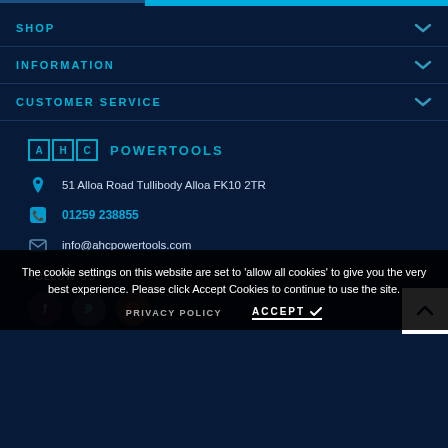SHOP
INFORMATION
CUSTOMER SERVICE
[Figure (logo): AHC Powertools logo with three letter boxes A, H, C and text POWERTOOLS]
51 Alloa Road Tullibody Alloa FK10 2TR
01259 238855
info@ahcpowertools.com
The cookie settings on this website are set to 'allow all cookies' to give you the very best experience. Please click Accept Cookies to continue to use the site.
PRIVACY POLICY
ACCEPT